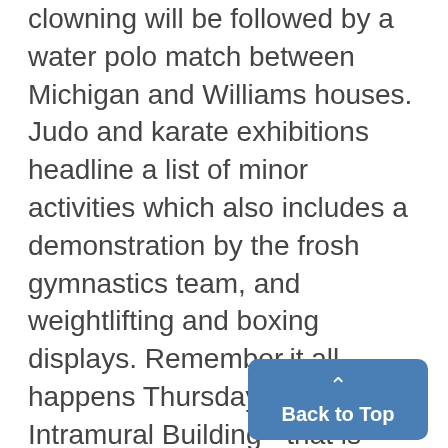clowning will be followed by a water polo match between Michigan and Williams houses. Judo and karate exhibitions headline a list of minor activities which also includes a demonstration by the frosh gymnastics team, and weightlifting and boxing displays. Remember,it all happens Thursday night in the Intramural Building - that is unless the melting snow floods the basketball courts again.